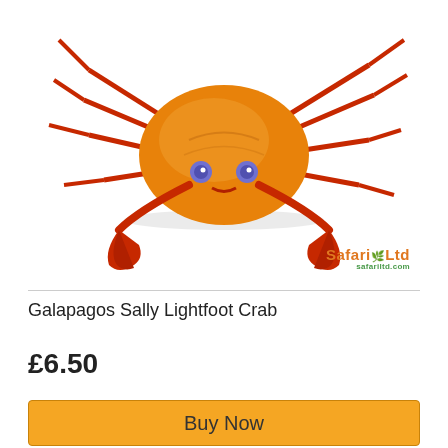[Figure (photo): A red and orange Galapagos Sally Lightfoot Crab toy figurine by Safari Ltd, viewed from above on a white background. The crab has bright red legs, orange shell/carapace, and distinctive blue-purple eyes with large claws in front.]
Galapagos Sally Lightfoot Crab
£6.50
Buy Now